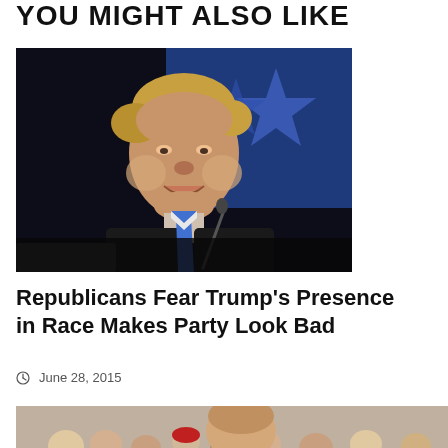YOU MIGHT ALSO LIKE
[Figure (photo): Man in dark suit with blue tie at a podium, smiling, with blue star background]
Republicans Fear Trump's Presence in Race Makes Party Look Bad
June 28, 2015
[Figure (photo): Man at a rally, crowd visible in background]